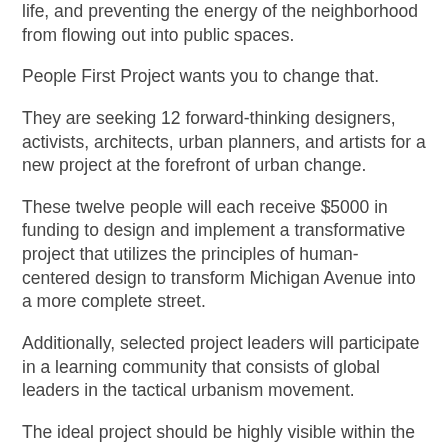life, and preventing the energy of the neighborhood from flowing out into public spaces.
People First Project wants you to change that.
They are seeking 12 forward-thinking designers, activists, architects, urban planners, and artists for a new project at the forefront of urban change.
These twelve people will each receive $5000 in funding to design and implement a transformative project that utilizes the principles of human-centered design to transform Michigan Avenue into a more complete street.
Additionally, selected project leaders will participate in a learning community that consists of global leaders in the tactical urbanism movement.
The ideal project should be highly visible within the larger community of urban activism while remaining rooted in Corktown by addressing the desires of its residents. Additionally, successful submissions will be projects that are